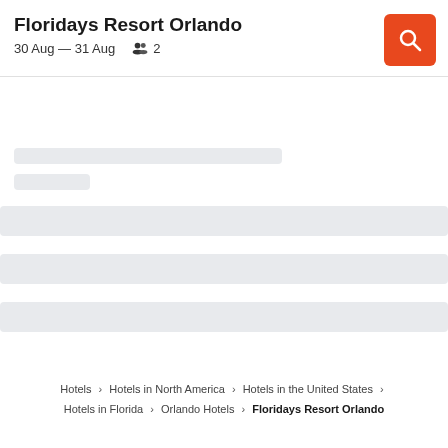Floridays Resort Orlando
30 Aug — 31 Aug   2
[Figure (screenshot): Loading skeleton bars indicating content is loading]
Hotels > Hotels in North America > Hotels in the United States > Hotels in Florida > Orlando Hotels > Floridays Resort Orlando